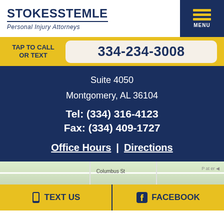[Figure (logo): Stokes Stemle Personal Injury Attorneys logo with dark blue text and yellow menu icon]
TAP TO CALL OR TEXT
334-234-3008
Suite 4050
Montgomery, AL 36104
Tel: (334) 316-4123
Fax: (334) 409-1727
Office Hours  |  Directions
[Figure (map): Street map showing Columbus St area in Montgomery AL]
TEXT US
FACEBOOK